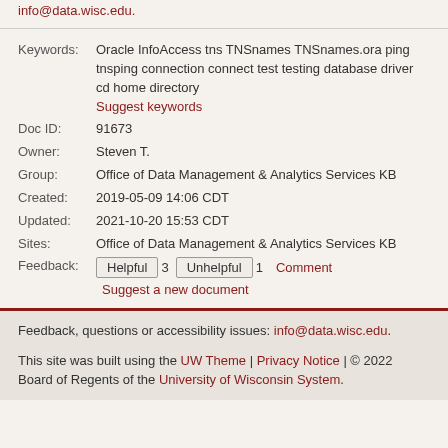info@data.wisc.edu.
Keywords: Oracle InfoAccess tns TNSnames TNSnames.ora ping tnsping connection connect test testing database driver cd home directory
Suggest keywords
Doc ID: 91673
Owner: Steven T.
Group: Office of Data Management & Analytics Services KB
Created: 2019-05-09 14:06 CDT
Updated: 2021-10-20 15:53 CDT
Sites: Office of Data Management & Analytics Services KB
Feedback: Helpful 3 Unhelpful 1 Comment Suggest a new document
Feedback, questions or accessibility issues: info@data.wisc.edu.
This site was built using the UW Theme | Privacy Notice | © 2022 Board of Regents of the University of Wisconsin System.